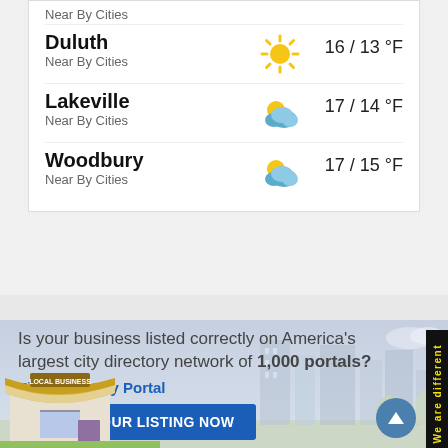Near By Cities
Duluth
Near By Cities
16 / 13 °F
Lakeville
Near By Cities
17 / 14 °F
Woodbury
Near By Cities
17 / 15 °F
[Figure (infographic): City business directory advertisement with skyline background, store illustration, claim listing button, and back-to-top button]
Is your business listed correctly on America's largest city directory network of 1,000 portals?
Find your City Portal
CLAIM YOUR LISTING NOW
We are different